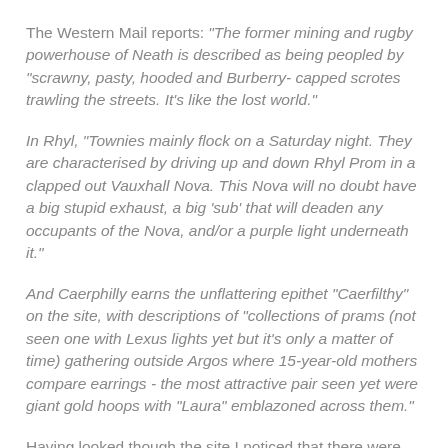The Western Mail reports: "The former mining and rugby powerhouse of Neath is described as being peopled by "scrawny, pasty, hooded and Burberry- capped scrotes trawling the streets. It's like the lost world."
In Rhyl, "Townies mainly flock on a Saturday night. They are characterised by driving up and down Rhyl Prom in a clapped out Vauxhall Nova. This Nova will no doubt have a big stupid exhaust, a big 'sub' that will deaden any occupants of the Nova, and/or a purple light underneath it."
And Caerphilly earns the unflattering epithet "Caerfilthy" on the site, with descriptions of "collections of prams (not seen one with Lexus lights yet but it's only a matter of time) gathering outside Argos where 15-year-old mothers compare earrings - the most attractive pair seen yet were giant gold hoops with "Laura" emblazoned across them."
Having looked though the site I noticed that there were no Welsh Towns in the top 10. Then again the site seems to have been set up just to slag off various places. I did not